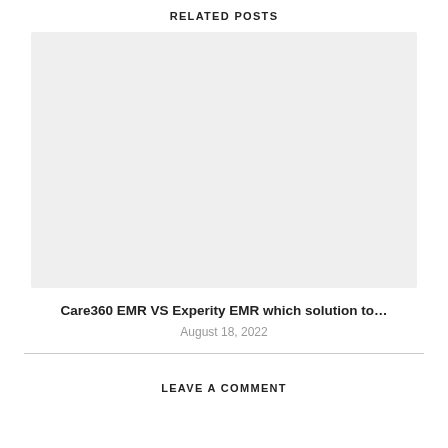RELATED POSTS
[Figure (photo): Placeholder image (light gray rectangle) for a related blog post about Care360 EMR VS Experity EMR]
Care360 EMR VS Experity EMR which solution to…
August 18, 2022
LEAVE A COMMENT